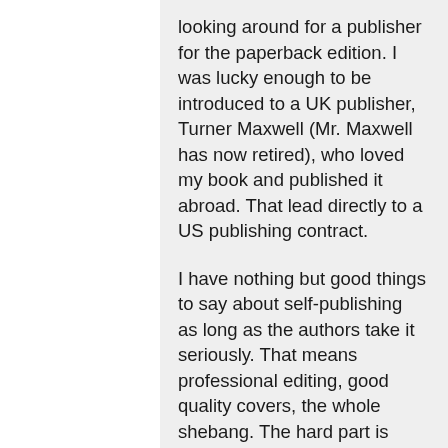looking around for a publisher for the paperback edition. I was lucky enough to be introduced to a UK publisher, Turner Maxwell (Mr. Maxwell has now retired), who loved my book and published it abroad. That lead directly to a US publishing contract.
I have nothing but good things to say about self-publishing as long as the authors take it seriously. That means professional editing, good quality covers, the whole shebang. The hard part is